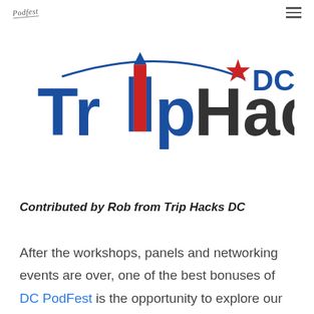Podfest  ☰
[Figure (logo): Trip Hacks DC logo with Washington Monument graphic, blue and red star, and 'DC' in blue text]
Contributed by Rob from Trip Hacks DC
After the workshops, panels and networking events are over, one of the best bonuses of DC PodFest is the opportunity to explore our nation's capitol! If you're in town for the weekend and